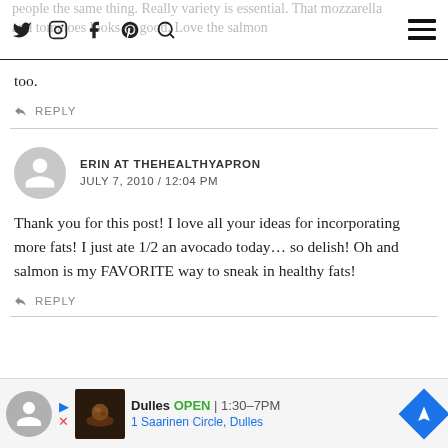Social media icons (Twitter, Instagram, Facebook, Pinterest, Search) and hamburger menu
people the same thing. Really variety is essential. That mozzarella and tomatoes looks so good. Love the salmon too.
↩ REPLY
ERIN AT THEHEALTHYAPRON
JULY 7, 2010 / 12:04 PM
Thank you for this post! I love all your ideas for incorporating more fats! I just ate 1/2 an avocado today… so delish! Oh and salmon is my FAVORITE way to sneak in healthy fats!
↩ REPLY
[Figure (other): Advertisement banner: Dulles restaurant, OPEN 1:30–7PM, 1 Saarinen Circle Dulles, with food image and navigation arrow]